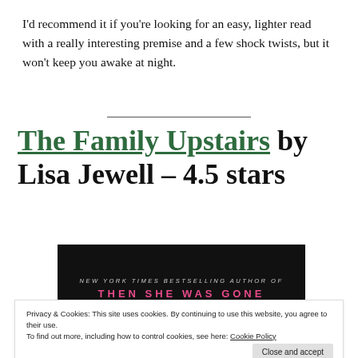I'd recommend it if you're looking for an easy, lighter read with a really interesting premise and a few shock twists, but it won't keep you awake at night.
The Family Upstairs by Lisa Jewell – 4.5 stars
[Figure (other): Book cover for 'The Family Upstairs' by Lisa Jewell. Black background with text 'NEW YORK TIMES BESTSELLING AUTHOR OF' in white/grey italic uppercase letters, and 'THEN SHE WAS GONE' in pink uppercase letters below.]
Privacy & Cookies: This site uses cookies. By continuing to use this website, you agree to their use.
To find out more, including how to control cookies, see here: Cookie Policy
Close and accept